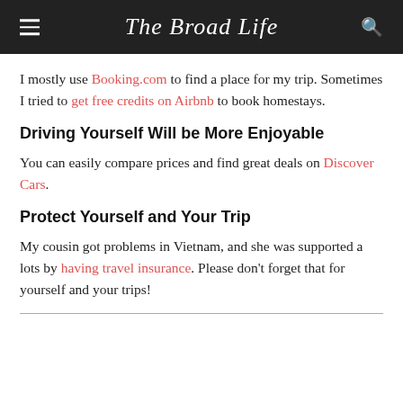The Broad Life
I mostly use Booking.com to find a place for my trip. Sometimes I tried to get free credits on Airbnb to book homestays.
Driving Yourself Will be More Enjoyable
You can easily compare prices and find great deals on Discover Cars.
Protect Yourself and Your Trip
My cousin got problems in Vietnam, and she was supported a lots by having travel insurance. Please don't forget that for yourself and your trips!